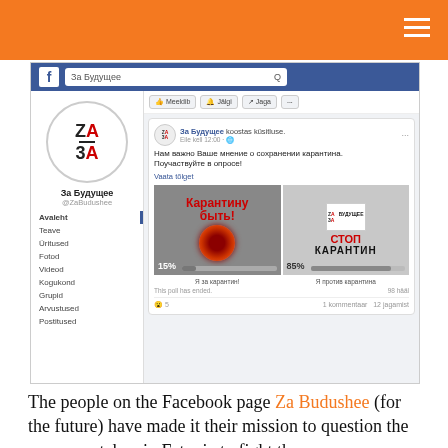[Figure (screenshot): Screenshot of the Za Budushee (За Будущее) Facebook page showing a poll about quarantine measures. The poll has two options: 'Карантину быть!' (Let there be quarantine) at 15% and 'СТОП КАРАНТИН' (Stop quarantine) at 85%. The post text reads: 'Нам важно Ваше мнение о сохранении карантина. Поучаствуйте в опросе! Vaata tõlget'. Footer shows: 'This poll has ended. 98 hääl', '5 reactions', '1 kommentaar 12 jagamist'.]
The people on the Facebook page Za Budushee (for the future) have made it their mission to question the measures taken in Estonia to fight the